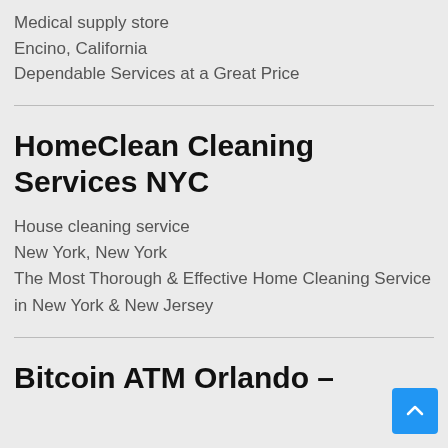Medical supply store
Encino, California
Dependable Services at a Great Price
HomeClean Cleaning Services NYC
House cleaning service
New York, New York
The Most Thorough & Effective Home Cleaning Service in New York & New Jersey
Bitcoin ATM Orlando –